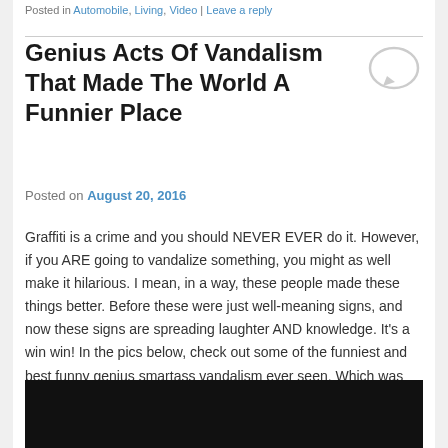Posted in Automobile, Living, Video | Leave a reply
Genius Acts Of Vandalism That Made The World A Funnier Place
Posted on August 20, 2016
Graffiti is a crime and you should NEVER EVER do it. However, if you ARE going to vandalize something, you might as well make it hilarious. I mean, in a way, these people made these things better. Before these were just well-meaning signs, and now these signs are spreading laughter AND knowledge. It's a win win! In the pics below, check out some of the funniest and best funny genius smartass vandalism ever seen. Which was your favorite?
[Figure (photo): Dark/black image placeholder at the bottom of the page]